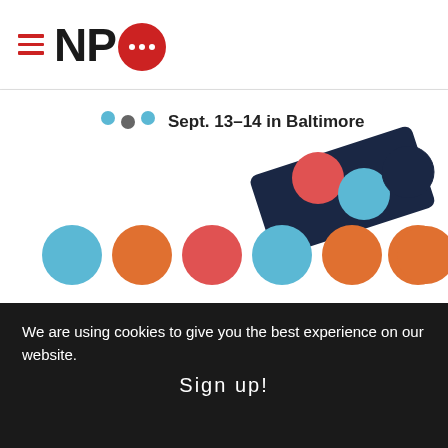[Figure (logo): NPQ (Nonprofit Quarterly) logo with hamburger menu icon, letters N P and a red speech bubble with dots for Q]
[Figure (infographic): Colorful dots/circles banner with text 'Sept. 13–14 in Baltimore' and decorative colored circles in teal, orange, red pattern with a dark navy diagonal strip]
[Figure (illustration): Farmers National Company advertisement with logo showing farmland and sun, text 'Wondering about land']
We are using cookies to give you the best experience on our website.
Sign up!